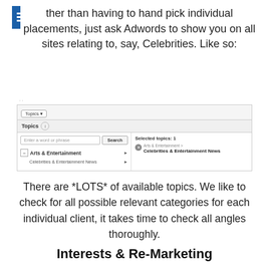ther than having to hand pick individual placements, just ask Adwords to show you on all sites relating to, say, Celebrities. Like so:
[Figure (screenshot): Screenshot of Google AdWords Topics selection interface showing 'Arts & Entertainment > Celebrities & Entertainment News' selected as a topic.]
There are *LOTS* of available topics. We like to check for all possible relevant categories for each individual client, it takes time to check all angles thoroughly.
Interests & Re-Marketing